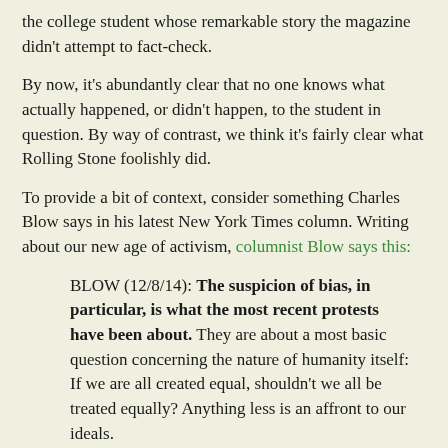the college student whose remarkable story the magazine didn't attempt to fact-check.
By now, it's abundantly clear that no one knows what actually happened, or didn't happen, to the student in question. By way of contrast, we think it's fairly clear what Rolling Stone foolishly did.
To provide a bit of context, consider something Charles Blow says in his latest New York Times column. Writing about our new age of activism, columnist Blow says this:
BLOW (12/8/14): The suspicion of bias, in particular, is what the most recent protests have been about. They are about a most basic question concerning the nature of humanity itself: If we are all created equal, shouldn't we all be treated equally? Anything less is an affront to our ideals.
Bias in the system often feels like fog in the morning: enveloping, amorphous and immeasurable. But individual cases, like the recent ones, hit us as discrete and concrete, about particular